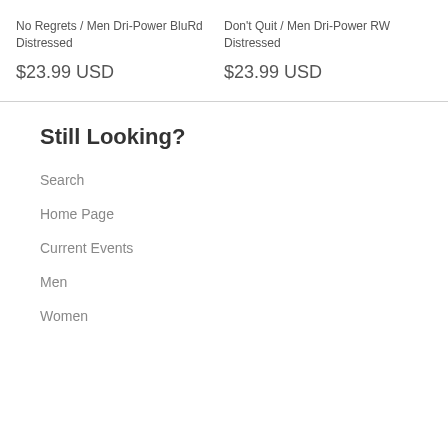No Regrets / Men Dri-Power BluRd Distressed
$23.99 USD
Don't Quit / Men Dri-Power RW Distressed
$23.99 USD
Still Looking?
Search
Home Page
Current Events
Men
Women